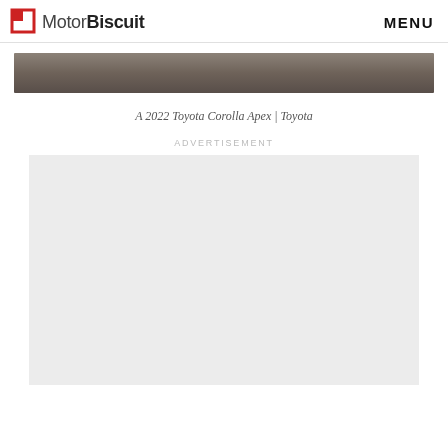MotorBiscuit  MENU
[Figure (photo): Close-up strip of a dark grey/brown car roof or hood surface of a 2022 Toyota Corolla Apex]
A 2022 Toyota Corolla Apex | Toyota
ADVERTISEMENT
[Figure (other): Advertisement placeholder box (light grey background)]